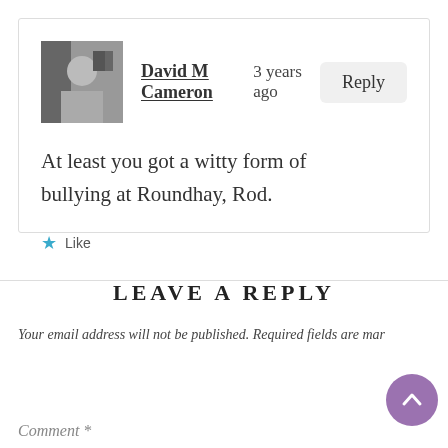David M Cameron   3 years ago   Reply
At least you got a witty form of bullying at Roundhay, Rod.
Like
LEAVE A REPLY
Your email address will not be published. Required fields are marked
Comment *